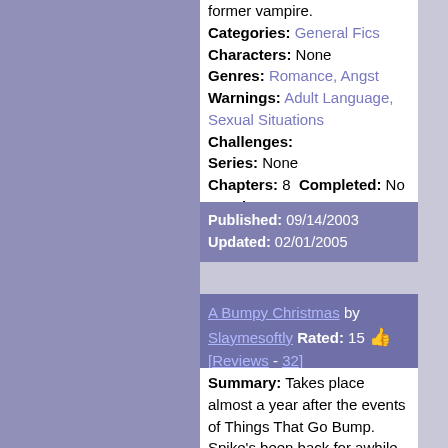former vampire. Categories: General Fics Characters: None Genres: Romance, Angst Warnings: Adult Language, Sexual Situations Challenges: Series: None Chapters: 8 Completed: No Word count: 24361
Published: 09/14/2003 Updated: 02/01/2005
A Bumpy Christmas by Slaymesoftly Rated: 15 [Reviews - 32]
Summary: Takes place almost a year after the events of Things That Go Bump. Spike's been back for awhile and W & H has figured it out. Turns out they aren't through with him... Categories: General Fics Characters: None Genres: Romance, Action Warnings: Violence Challenges: Series: Bumpverse